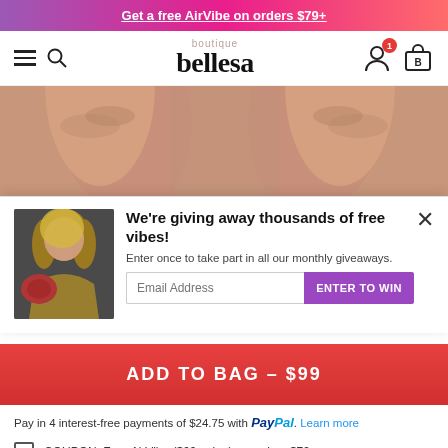Get a free AirVibe on orders $79+
[Figure (screenshot): Bellesa Boutique navigation bar with hamburger menu, search icon, Bellesa boutique logo, account icon with notification badge showing 1, and shopping bag icon]
[Figure (photo): Close-up photo of hands against a pink/nude background]
[Figure (screenshot): Popup modal with a woman holding a red product, heading 'We're giving away thousands of free vibes!', subtext 'Enter once to take part in all our monthly giveaways.', email input field, and purple ENTER TO WIN button. Close X button top right.]
We're giving away thousands of free vibes!
Enter once to take part in all our monthly giveaways.
ADD TO BAG – $99
Pay in 4 interest-free payments of $24.75 with PayPal. Learn more
COUPON: Free AirVibe ($99 value) on orders $79+